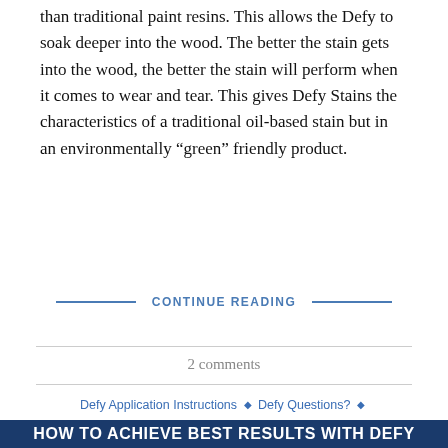than traditional paint resins. This allows the Defy to soak deeper into the wood. The better the stain gets into the wood, the better the stain will perform when it comes to wear and tear. This gives Defy Stains the characteristics of a traditional oil-based stain but in an environmentally “green” friendly product.
CONTINUE READING
2 comments
Defy Application Instructions
Defy Questions?
How to Apply Defy Extreme
How to Prep For Defy Stains
Need Help With Defy Stains?
HOW TO ACHIEVE BEST RESULTS WITH DEFY